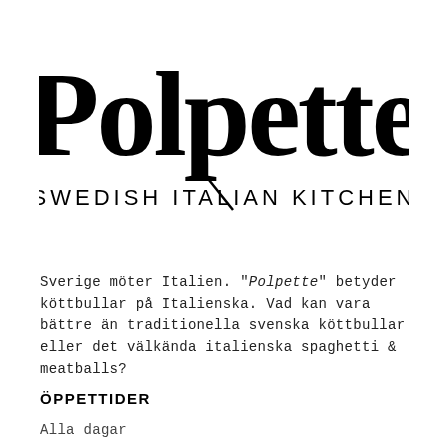[Figure (logo): Polpette Swedish Italian Kitchen logo — handwritten script 'Polpette' with a diagonal slash line, below it 'SWEDISH / ITALIAN KITCHEN' in spaced capital letters]
Sverige möter Italien. "Polpette" betyder köttbullar på Italienska. Vad kan vara bättre än traditionella svenska köttbullar eller det välkända italienska spaghetti & meatballs?
ÖPPETTIDER
Alla dagar